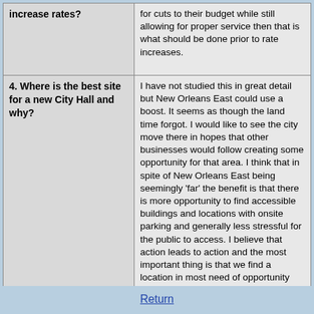| Question | Answer |
| --- | --- |
| increase rates? | for cuts to their budget while still allowing for proper service then that is what should be done prior to rate increases. |
| 4. Where is the best site for a new City Hall and why? | I have not studied this in great detail but New Orleans East could use a boost. It seems as though the land time forgot. I would like to see the city move there in hopes that other businesses would follow creating some opportunity for that area. I think that in spite of New Orleans East being seemingly 'far' the benefit is that there is more opportunity to find accessible buildings and locations with onsite parking and generally less stressful for the public to access. I believe that action leads to action and the most important thing is that we find a location in most need of opportunity |
Return